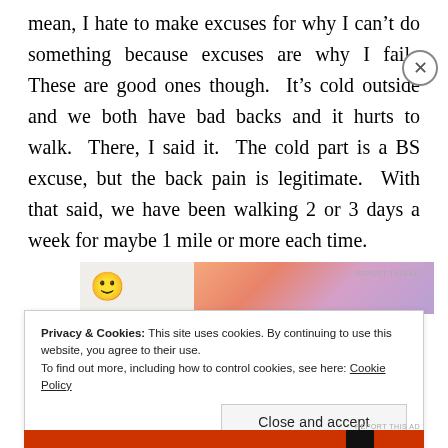mean, I hate to make excuses for why I can't do something because excuses are why I fail. These are good ones though. It's cold outside and we both have bad backs and it hurts to walk. There, I said it. The cold part is a BS excuse, but the back pain is legitimate. With that said, we have been walking 2 or 3 days a week for maybe 1 mile or more each time.
[Figure (other): Partial advertisement banner with a smiley face icon on the left and a colorful orange-to-purple gradient image on the right. Text 'REPORT THIS AD' appears below the banner.]
Privacy & Cookies: This site uses cookies. By continuing to use this website, you agree to their use. To find out more, including how to control cookies, see here: Cookie Policy
Close and accept